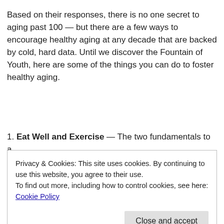Based on their responses, there is no one secret to aging past 100 — but there are a few ways to encourage healthy aging at any decade that are backed by cold, hard data. Until we discover the Fountain of Youth, here are some of the things you can do to foster healthy aging.
1. Eat Well and Exercise — The two fundamentals to a
Privacy & Cookies: This site uses cookies. By continuing to use this website, you agree to their use.
To find out more, including how to control cookies, see here: Cookie Policy